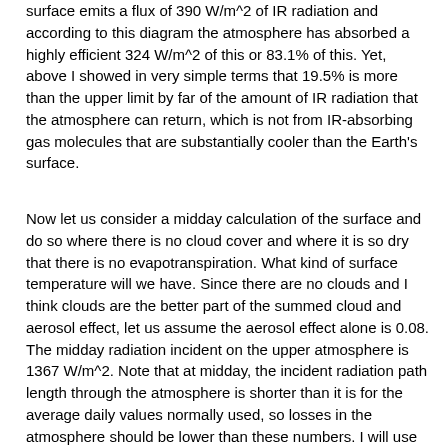surface emits a flux of 390 W/m^2 of IR radiation and according to this diagram the atmosphere has absorbed a highly efficient 324 W/m^2 of this or 83.1% of this.  Yet, above I showed in very simple terms that 19.5% is more than the upper limit by far of the amount of IR radiation that the atmosphere can return, which is not from IR-absorbing gas molecules that are substantially cooler than the Earth's surface.
Now let us consider a midday calculation of the surface and do so where there is no cloud cover and where it is so dry that there is no evapotranspiration.  What kind of surface temperature will we have.  Since there are no clouds and I think clouds are the better part of the summed cloud and aerosol effect, let us assume the aerosol effect alone is 0.08.  The midday radiation incident on the upper atmosphere is 1367 W/m^2.  Note that at midday, the incident radiation path length through the atmosphere is shorter than it is for the average daily values normally used, so losses in the atmosphere should be lower than these numbers.  I will use them nonetheless.